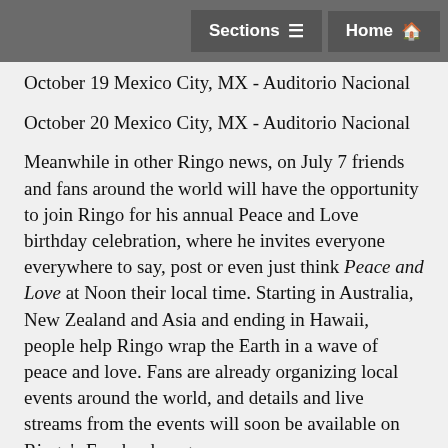Sections  Home
October 19 Mexico City, MX - Auditorio Nacional
October 20 Mexico City, MX - Auditorio Nacional
Meanwhile in other Ringo news, on July 7 friends and fans around the world will have the opportunity to join Ringo for his annual Peace and Love birthday celebration, where he invites everyone everywhere to say, post or even just think Peace and Love at Noon their local time. Starting in Australia, New Zealand and Asia and ending in Hawaii, people help Ringo wrap the Earth in a wave of peace and love. Fans are already organizing local events around the world, and details and live streams from the events will soon be available on Ringo's Facebook page.